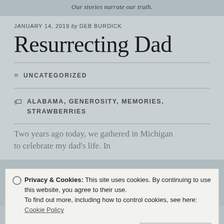Our stories narrate our truth.
JANUARY 14, 2019 by DEB BURDICK
Resurrecting Dad
UNCATEGORIZED
ALABAMA, GENEROSITY, MEMORIES, STRAWBERRIES
Privacy & Cookies: This site uses cookies. By continuing to use this website, you agree to their use.
To find out more, including how to control cookies, see here:
Cookie Policy
Close and accept
Two years ago today, we gathered in Michigan to celebrate my dad's life. In
Follow ...